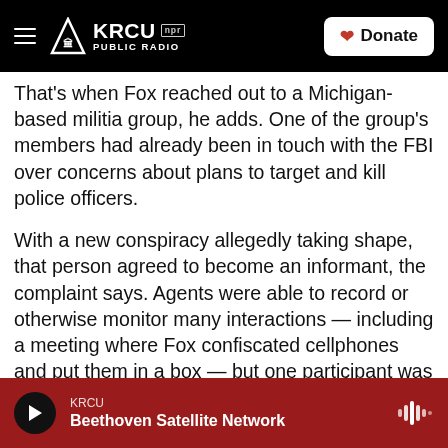KRCU NPR PUBLIC RADIO | Donate
That's when Fox reached out to a Michigan-based militia group, he adds. One of the group's members had already been in touch with the FBI over concerns about plans to target and kill police officers.
With a new conspiracy allegedly taking shape, that person agreed to become an informant, the complaint says. Agents were able to record or otherwise monitor many interactions — including a meeting where Fox confiscated cellphones and put them in a box — but one participant was wearing a recording device.
KRCU | Beethoven Satellite Network